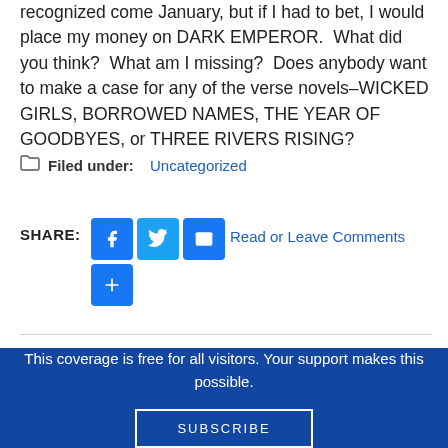recognized come January, but if I had to bet, I would place my money on DARK EMPEROR. What did you think? What am I missing? Does anybody want to make a case for any of the verse novels–WICKED GIRLS, BORROWED NAMES, THE YEAR OF GOODBYES, or THREE RIVERS RISING?
Filed under: Uncategorized
SHARE: [Facebook] [Twitter] [Email] [More] Read or Leave Comments
This coverage is free for all visitors. Your support makes this possible.
SUBSCRIBE